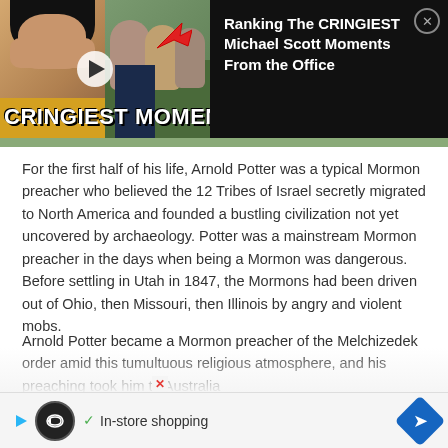[Figure (screenshot): Video thumbnail advertisement: 'Ranking The CRINGIEST Michael Scott Moments From the Office' with a close button (×), showing a woman covering her face on the left and a man crying on the right with a red arrow pointing to him, and bold white text 'CRINGIEST MOMENT?' at the bottom of the thumbnail.]
For the first half of his life, Arnold Potter was a typical Mormon preacher who believed the 12 Tribes of Israel secretly migrated to North America and founded a bustling civilization not yet uncovered by archaeology. Potter was a mainstream Mormon preacher in the days when being a Mormon was dangerous. Before settling in Utah in 1847, the Mormons had been driven out of Ohio, then Missouri, then Illinois by angry and violent mobs.
Arnold Potter became a Mormon preacher of the Melchizedek order amid this tumultuous religious atmosphere, and his preaching took him to Australia
[Figure (screenshot): Bottom advertisement banner with a dark circular loop/play icon, a checkmark, text 'In-store shopping', and a blue diamond navigation arrow on the right. Also shows a small red X close button.]